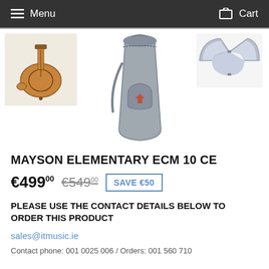Menu  Cart
[Figure (photo): Three product images: a classical guitar (thumbnail, top left), a grey guitar gig bag (center main image), and an open guitar case (top right thumbnail)]
MAYSON ELEMENTARY ECM 10 CE
€499.00  €549.00  SAVE €50
PLEASE USE THE CONTACT DETAILS BELOW TO ORDER THIS PRODUCT
sales@itmusic.ie
Contact phone: 001 0025 006 / Orders: 001 560 710